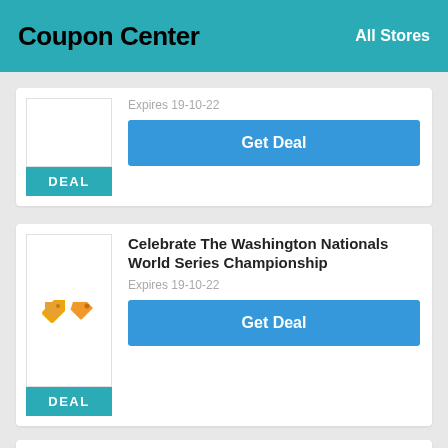Coupon Center   All Stores
Expires 19-10-22
DEAL
Get Deal
Celebrate The Washington Nationals World Series Championship
Expires 19-10-22
DEAL
Get Deal